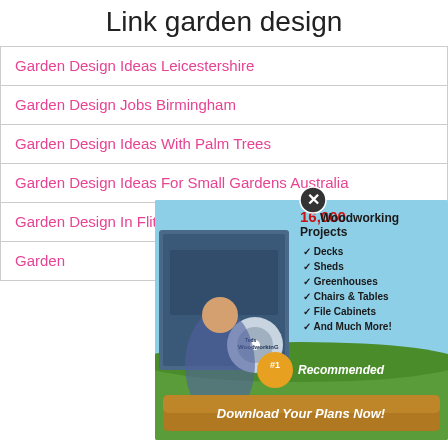Link garden design
Garden Design Ideas Leicestershire
Garden Design Jobs Birmingham
Garden Design Ideas With Palm Trees
Garden Design Ideas For Small Gardens Australia
Garden Design In Flitwick
Garden [Design ...]
[Figure (photo): Advertisement for Ted's Woodworking: 16,000 Woodworking Projects including Decks, Sheds, Greenhouses, Chairs & Tables, File Cabinets, And Much More! #1 Recommended. Download Your Plans Now!]